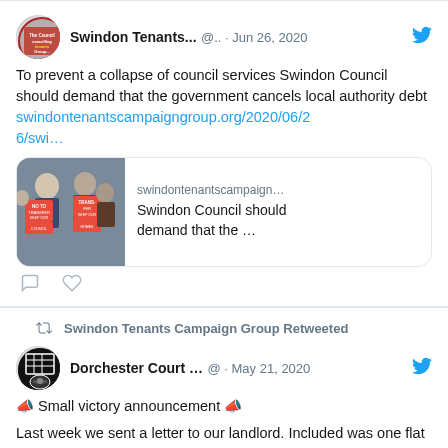[Figure (screenshot): Twitter/X screenshot showing two tweets. First tweet by Swindon Tenants... @.. Jun 26, 2020: 'To prevent a collapse of council services Swindon Council should demand that the government cancels local authority debt swindontenantscampaigngroup.org/2020/06/26/swi...' with a link preview card showing two women holding protest signs. Second tweet section shows Swindon Tenants Campaign Group Retweeted, then Dorchester Court ... @ May 21, 2020 with megaphone emojis: 'Small victory announcement' followed by 'Last week we sent a letter to our landlord. Included was one flat which, uniquely for Dorchester Court, has a different landlord']